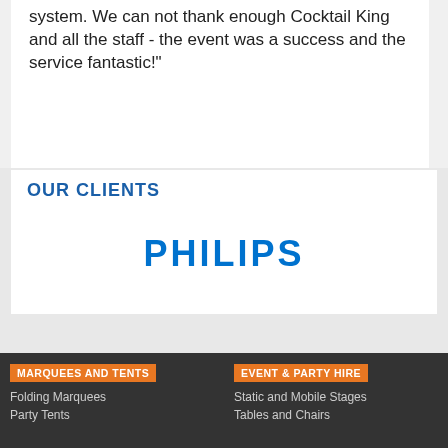system. We can not thank enough Cocktail King and all the staff - the event was a success and the service fantastic!"
OUR CLIENTS
[Figure (logo): Philips brand logo in blue uppercase letters]
MARQUEES AND TENTS
Folding Marquees
Party Tents
EVENT & PARTY HIRE
Static and Mobile Stages
Tables and Chairs